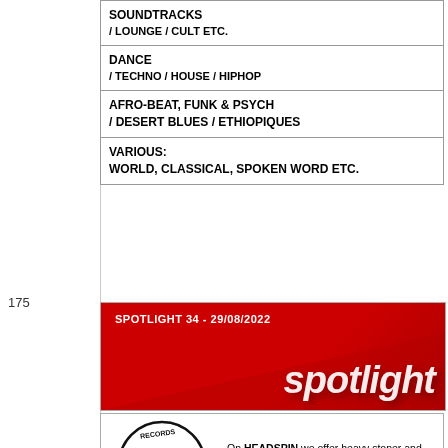| SOUNDTRACKS / LOUNGE / CULT ETC. |
| DANCE / TECHNO / HOUSE / HIPHOP |
| AFRO-BEAT, FUNK & PSYCH / DESERT BLUES / ETHIOPIQUES |
| VARIOUS: WORLD, CLASSICAL, SPOKEN WORD ETC. |
[Figure (other): Red Spotlight banner with text 'SPOTLIGHT 34 - 29/08/2022' and large italic white 'spotlight' logo on red gradient background]
[Figure (logo): Headspin Records circular logo in black and white]
On HEADSPIN we offer heavy stoner and psych rock sounds by excellent contemporary artists.
Newsletters
Subscribe to our